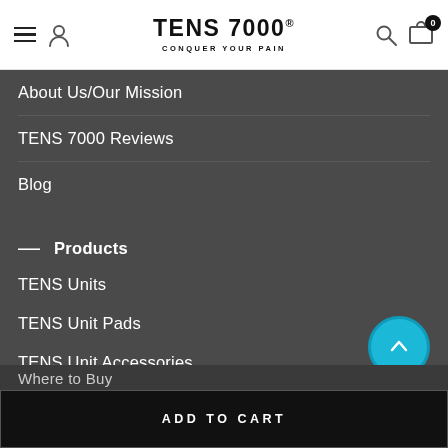TENS 7000® CONQUER YOUR PAIN
About Us/Our Mission
TENS 7000 Reviews
Blog
— Products
TENS Units
TENS Unit Pads
TENS Unit Accessories
Register Your TENS 7000
Where to Buy
ADD TO CART